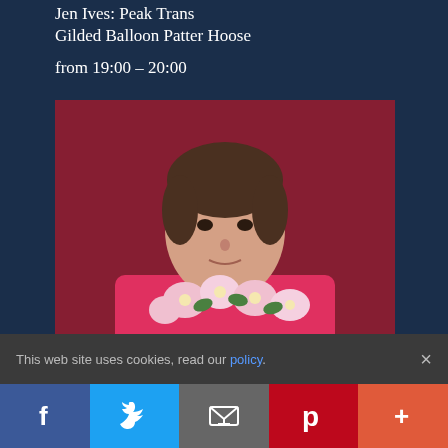Jen Ives: Peak Trans
Gilded Balloon Patter Hoose
from 19:00 - 20:00
[Figure (photo): A man in a pink/red blazer wearing a flower garland around his neck, posed against a crimson/dark red draped background, looking directly at camera with a neutral expression.]
Book Now
This web site uses cookies, read our policy.